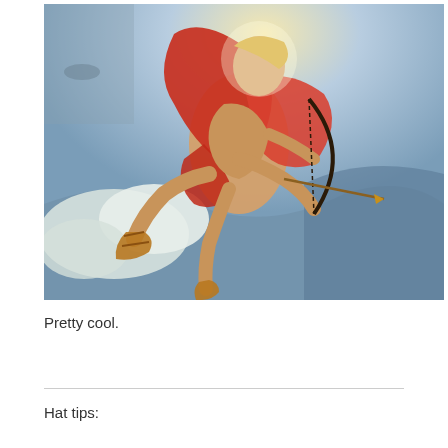[Figure (illustration): Classical painting of a young male figure (Apollo or Cupid) flying through clouds, wearing red drapery and golden sandals, holding a bow and arrow, with a bright sky background.]
Pretty cool.
Hat tips: